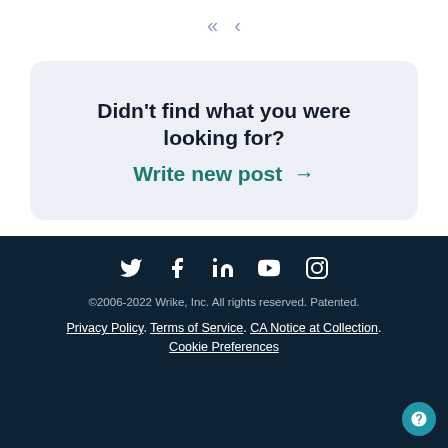« <
Didn't find what you were looking for?
Write new post →
©2006-2022 Wrike, Inc. All rights reserved. Patented.
Privacy Policy. Terms of Service. CA Notice at Collection.
Cookie Preferences